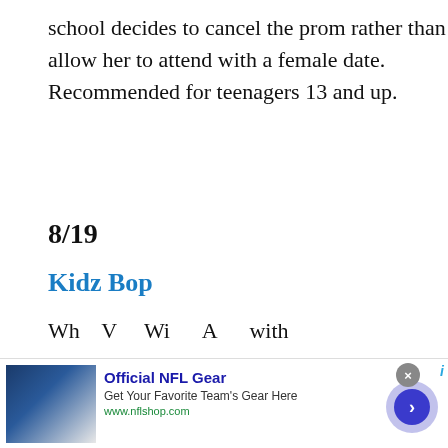school decides to cancel the prom rather than allow her to attend with a female date. Recommended for teenagers 13 and up.
8/19
Kidz Bop
Wh...V...Wi...A...with...
[Figure (screenshot): Newsletter signup overlay with blue background, city skyline image, text 'Join our daily newsletter list!' and 'Start your morning with us. The Daily Brief delivers']
[Figure (screenshot): Advertisement for Official NFL Gear with jerseys image, title 'Official NFL Gear', description 'Get Your Favorite Team's Gear Here', URL 'www.nflshop.com', and a blue arrow button]